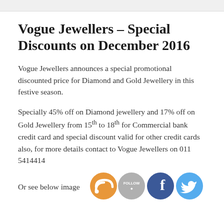Vogue Jewellers – Special Discounts on December 2016
Vogue Jewellers announces a special promotional discounted price for Diamond and Gold Jewellery in this festive season.
Specially 45% off on Diamond jewellery and 17% off on Gold Jewellery from 15th to 18th for Commercial bank credit card and special discount valid for other credit cards also, for more details contact to Vogue Jewellers on 011 5414414
Or see below image